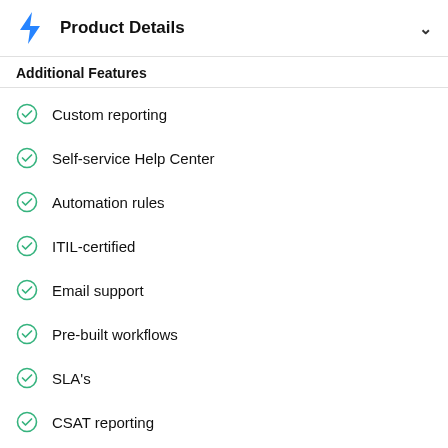Product Details
Additional Features
Custom reporting
Self-service Help Center
Automation rules
ITIL-certified
Email support
Pre-built workflows
SLA's
CSAT reporting
Asset management integration
Jira Service Management (Jira Service Desk)